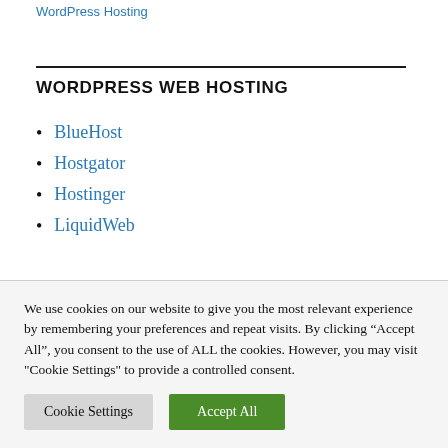WordPress Hosting
WORDPRESS WEB HOSTING
BlueHost
Hostgator
Hostinger
LiquidWeb
We use cookies on our website to give you the most relevant experience by remembering your preferences and repeat visits. By clicking "Accept All", you consent to the use of ALL the cookies. However, you may visit "Cookie Settings" to provide a controlled consent.